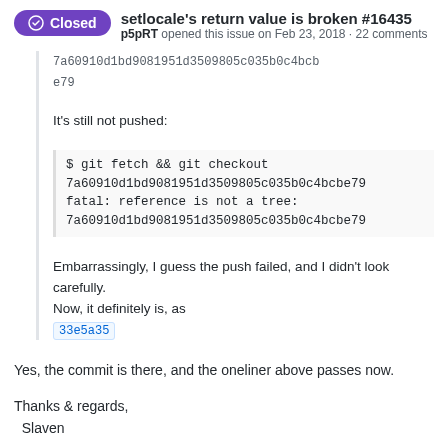setlocale's return value is broken #16435 — p5pRT opened this issue on Feb 23, 2018 · 22 comments
7a60910d1bd9081951d3509805c035b0c4bcbe79
It's still not pushed:
$ git fetch && git checkout 7a60910d1bd9081951d3509805c035b0c4bcbe79
fatal: reference is not a tree: 7a60910d1bd9081951d3509805c035b0c4bcbe79
Embarrassingly, I guess the push failed, and I didn't look carefully.
Now, it definitely is, as
33e5a35
Yes, the commit is there, and the oneliner above passes now.
Thanks & regards,
  Slaven